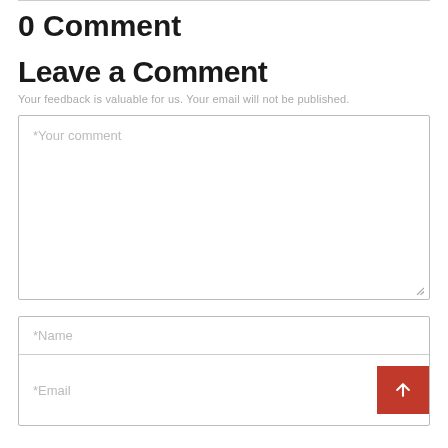0 Comment
Leave a Comment
Your feedback is valuable for us. Your email will not be published.
*Your comment
*Name
*Email